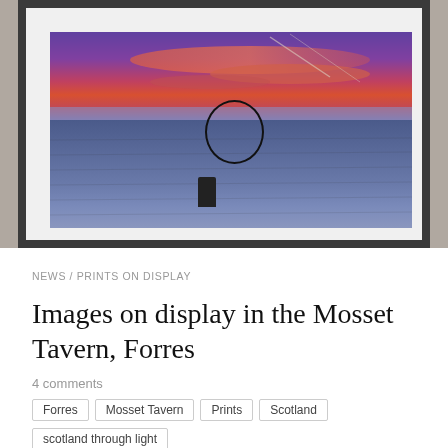[Figure (photo): A framed landscape photograph displayed on a wall. The photo shows a dramatic sunset/dusk scene over a wide flat beach or tidal flat, with a vivid purple, red and orange sky. A dark post or marker stands in the foreground on the sand. A hand-drawn circle annotation appears in the photo highlighting an area in the middle distance. The frame is dark grey/black with a white mat. Decorative objects visible to the right of the frame.]
NEWS / PRINTS ON DISPLAY
Images on display in the Mosset Tavern, Forres
4 comments
Forres
Mosset Tavern
Prints
Scotland
scotland through light